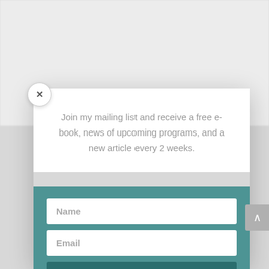[Figure (screenshot): A modal popup dialog over a blurred webpage background. The modal has a white top section with descriptive text and a teal/green lower section containing a Name input field, an Email input field, and a Subscribe button. A circular close (X) button appears at the top-left corner of the modal. A partially visible scroll-to-top arrow button appears at the right edge of the page.]
Join my mailing list and receive a free e-book, news of upcoming programs, and a new article every 2 weeks.
Name
Email
Subscribe